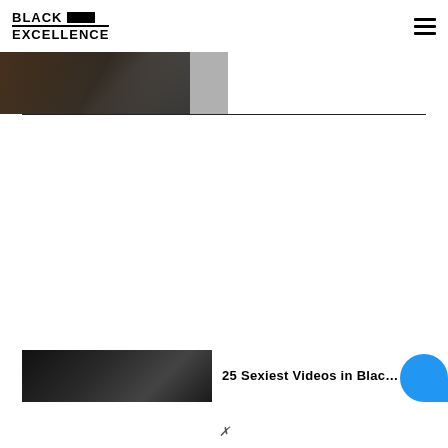BLACK EXCELLENCE
[Figure (photo): Partial image of a person at the top of the page, cropped]
[Figure (photo): Dark image thumbnail at the bottom left of the page]
25 Sexiest Videos in Black Cu...